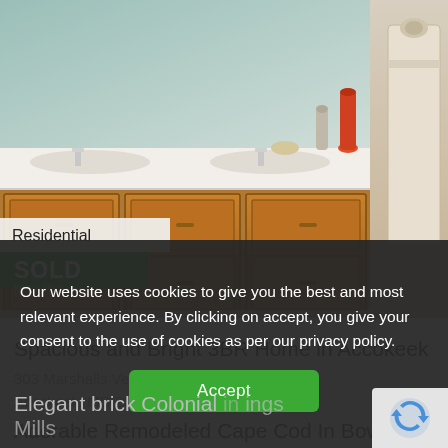[Figure (photo): Bathroom photo showing wood vanity cabinets with white countertop, mirror, decorative items, and towels hanging on the right side. Has 'Residential' and 'SOLD' badges overlaid.]
Spacious and Bright 3BR Home in Accokeek
303 Marshalls Venture Ct
Accokeek, MD 20607
Adorable Remodeled Cape Cod In Bowie
Elegant brick Colonial [in] [Ow]ings Mills
Our website uses cookies to give you the best and most relevant experience. By clicking on accept, you give your consent to the use of cookies as per our privacy policy.